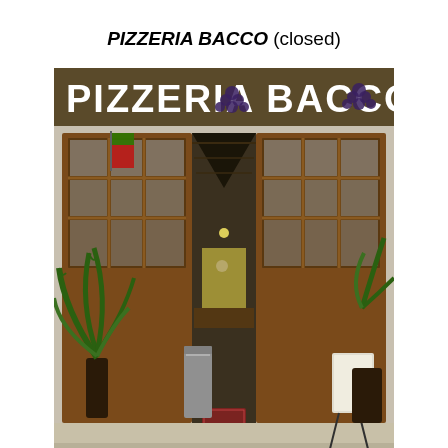PIZZERIA BACCO (closed)
[Figure (photo): Exterior photograph of Pizzeria Bacco restaurant showing the storefront with a large wooden double door wide open, revealing the interior dining area. The sign above reads 'PIZZERIA BACCO' with grape bunch decorations. A large potted palm plant stands to the left, a menu stand is visible on the right, and a small red rug is placed at the entrance.]